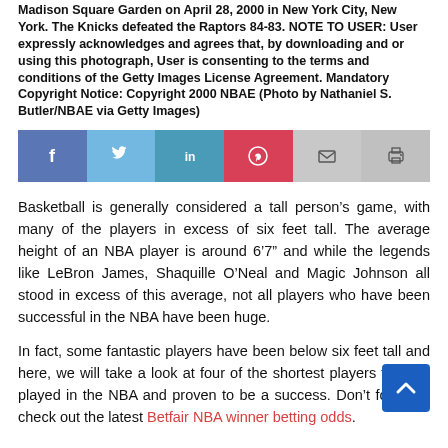Madison Square Garden on April 28, 2000 in New York City, New York. The Knicks defeated the Raptors 84-83. NOTE TO USER: User expressly acknowledges and agrees that, by downloading and or using this photograph, User is consenting to the terms and conditions of the Getty Images License Agreement. Mandatory Copyright Notice: Copyright 2000 NBAE (Photo by Nathaniel S. Butler/NBAE via Getty Images)
[Figure (infographic): Social share bar with Facebook, Twitter, LinkedIn, Pinterest, Email, and Print buttons]
Basketball is generally considered a tall person’s game, with many of the players in excess of six feet tall. The average height of an NBA player is around 6’7” and while the legends like LeBron James, Shaquille O’Neal and Magic Johnson all stood in excess of this average, not all players who have been successful in the NBA have been huge.
In fact, some fantastic players have been below six feet tall and here, we will take a look at four of the shortest players to have played in the NBA and proven to be a success. Don’t forget to check out the latest Betfair NBA winner betting odds.